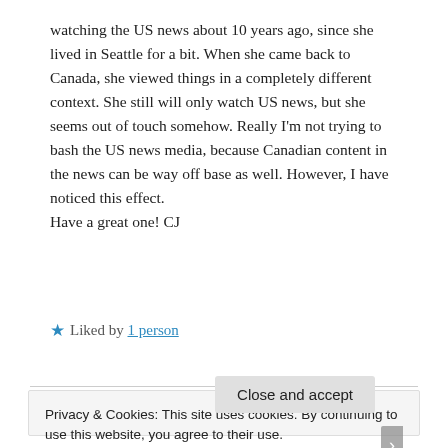watching the US news about 10 years ago, since she lived in Seattle for a bit. When she came back to Canada, she viewed things in a completely different context. She still will only watch US news, but she seems out of touch somehow. Really I'm not trying to bash the US news media, because Canadian content in the news can be way off base as well. However, I have noticed this effect.
Have a great one! CJ
★ Liked by 1 person
Privacy & Cookies: This site uses cookies. By continuing to use this website, you agree to their use.
To find out more, including how to control cookies, see here: Cookie Policy
Close and accept